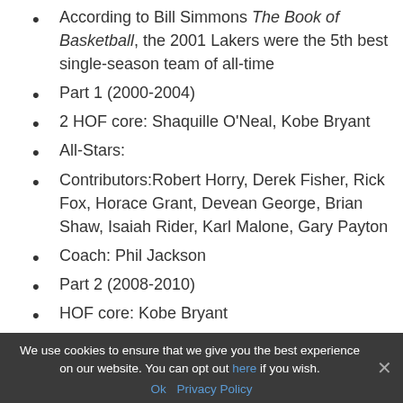According to Bill Simmons The Book of Basketball, the 2001 Lakers were the 5th best single-season team of all-time
Part 1 (2000-2004)
2 HOF core: Shaquille O'Neal, Kobe Bryant
All-Stars:
Contributors:Robert Horry, Derek Fisher, Rick Fox, Horace Grant, Devean George, Brian Shaw, Isaiah Rider, Karl Malone, Gary Payton
Coach: Phil Jackson
Part 2 (2008-2010)
HOF core: Kobe Bryant
All-stars: Pau Gasol,
Contributors: Lamar Odom, Trevor Ariza, Derek Fisher, Andrew Bynum, Sasha Vujacic, Vladimir Radmanovic, ...peace
Coach: Phil Jackson
Dynasty: YES (I considered breaking this into two